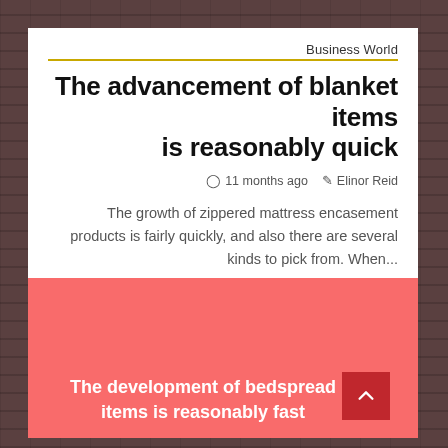Business World
The advancement of blanket items is reasonably quick
11 months ago   Elinor Reid
The growth of zippered mattress encasement products is fairly quickly, and also there are several kinds to pick from. When...
The development of bedspread items is reasonably fast